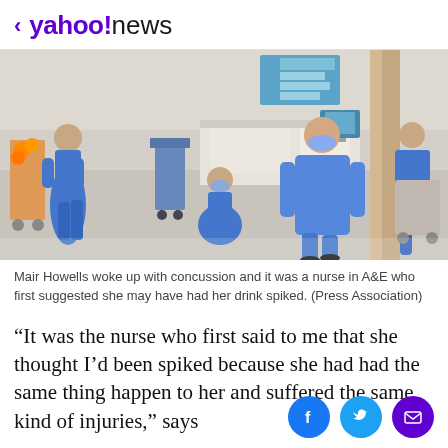< yahoo!news
[Figure (photo): Hospital ward scene with multiple nurses in blue scrubs and face masks working in an A&E department corridor]
Mair Howells woke up with concussion and it was a nurse in A&E who first suggested she may have had her drink spiked. (Press Association)
“It was the nurse who first said to me that she thought I’d been spiked because she had had the same thing happen to her and suffered the same kind of injuries,” says